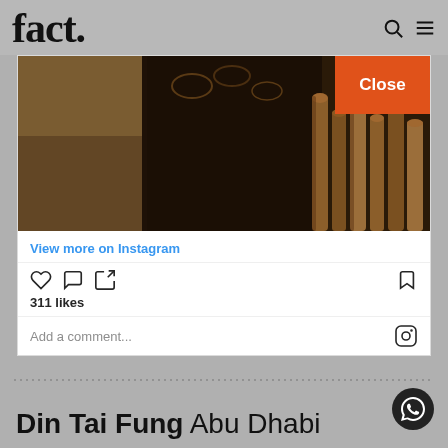fact.
[Figure (screenshot): Instagram embed showing organ pipes in a dark ornate setting with a Close button (orange), View more on Instagram link, heart/comment/share icons, 311 likes, and an Add a comment bar with Instagram icon]
View more on Instagram
311 likes
Add a comment...
Din Tai Fung Abu Dhabi